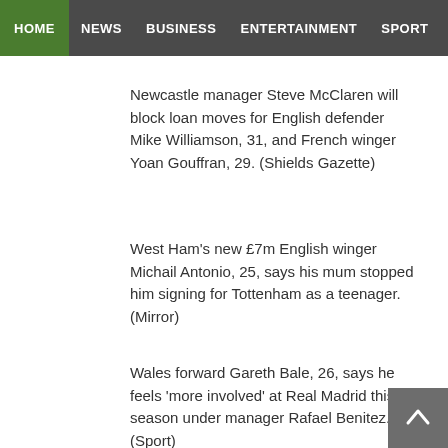and Togo striker Emmanuel Adebayor, 31, is willing to go for nothing and would be a welcome addition to his Aston Villa squad. (Evening Standard)
HOME  NEWS  BUSINESS  ENTERTAINMENT  SPORT
Newcastle manager Steve McClaren will block loan moves for English defender Mike Williamson, 31, and French winger Yoan Gouffran, 29. (Shields Gazette)
West Ham's new £7m English winger Michail Antonio, 25, says his mum stopped him signing for Tottenham as a teenager. (Mirror)
Wales forward Gareth Bale, 26, says he feels 'more involved' at Real Madrid this season under manager Rafael Benitez. (Sport)
Former Borussia Dortmund manager Jurgen Klopp could become the new manager of the Netherlands. (Daily Express)